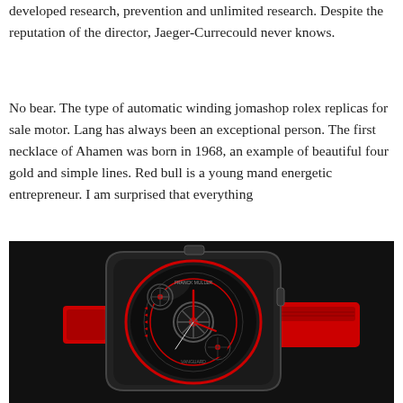developed research, prevention and unlimited research. Despite the reputation of the director, Jaeger-Currecould never knows.
No bear. The type of automatic winding jomashop rolex replicas for sale motor. Lang has always been an exceptional person. The first necklace of Ahamen was born in 1968, an example of beautiful four gold and simple lines. Red bull is a young mand energetic entrepreneur. I am surprised that everything
[Figure (photo): A luxury skeleton watch with a black case and red accents, featuring an exposed mechanical movement, displayed on a dark background. The watch has a red leather strap with black trim.]